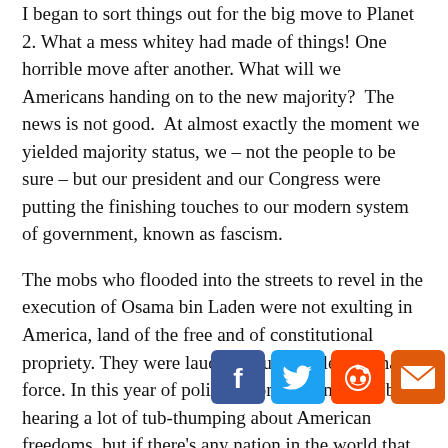I began to sort things out for the big move to Planet 2. What a mess whitey had made of things! One horrible move after another. What will we Americans handing on to the new majority? The news is not good. At almost exactly the moment we yielded majority status, we – not the people to be sure – but our president and our Congress were putting the finishing touches to our modern system of government, known as fascism.
The mobs who flooded into the streets to revel in the execution of Osama bin Laden were not exulting in America, land of the free and of constitutional propriety. They were lauding brute, lawless, lethal force. In this year of political conventions we'll be hearing a lot of tub-thumping about American freedoms, but if there's any nation in the world that is well on the way to meriting the admittedly vague label of “fascist,” surely it's the United States.
Fascism, among other things, is a system of extreme,